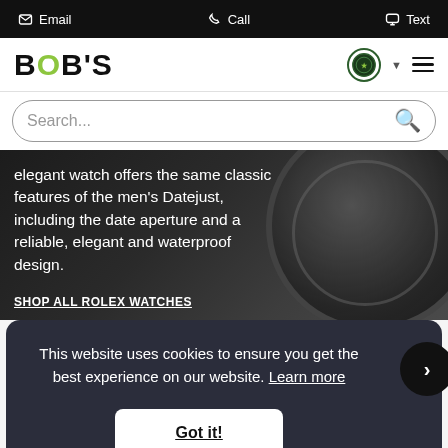Email  Call  Text
[Figure (logo): BOB'S Watches logo with green O, navigation icons including a shield/seal icon and hamburger menu]
Search...
elegant watch offers the same classic features of the men's Datejust, including the date aperture and a reliable, elegant and waterproof design.
SHOP ALL ROLEX WATCHES
This website uses cookies to ensure you get the best experience on our website. Learn more
Got it!